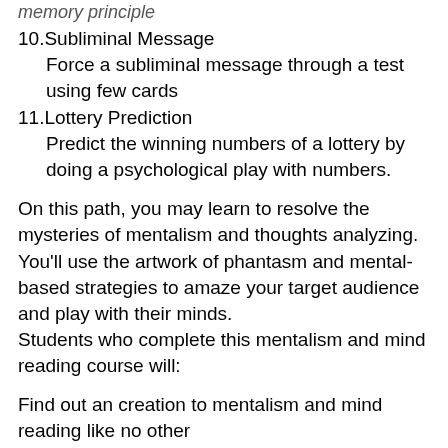memory principle
10.Subliminal Message
    Force a subliminal message through a test using few cards
11.Lottery Prediction
    Predict the winning numbers of a lottery by doing a psychological play with numbers.
On this path, you may learn to resolve the mysteries of mentalism and thoughts analyzing. You’ll use the artwork of phantasm and mental-based strategies to amaze your target audience and play with their minds.
Students who complete this mentalism and mind reading course will:
Find out an creation to mentalism and mind reading like no other
Research a depth of magical ability hardly ever shared
Learn to mindread any word from the book which your spectator may choose